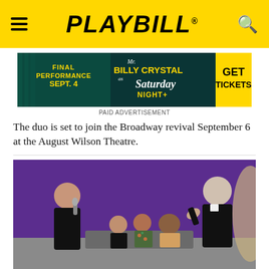PLAYBILL
[Figure (screenshot): Advertisement banner for Billy Crystal in Mr. Saturday Night. Text reads: FINAL PERFORMANCE SEPT. 4 / BILLY CRYSTAL as Mr. Saturday Night / GET TICKETS]
PAID ADVERTISEMENT
The duo is set to join the Broadway revival September 6 at the August Wilson Theatre.
[Figure (photo): Photo of two men on a stage with purple background. One man on the left holds a microphone and wears black. An older man on the right in a black suit gestures with his hand raised. Three people sit on a couch in the middle background.]